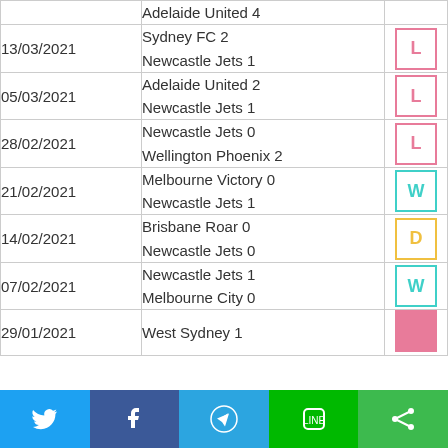| Date | Match | Result |
| --- | --- | --- |
|  | Adelaide United 4 |  |
| 13/03/2021 | Sydney FC 2
Newcastle Jets 1 | L |
| 05/03/2021 | Adelaide United 2
Newcastle Jets 1 | L |
| 28/02/2021 | Newcastle Jets 0
Wellington Phoenix 2 | L |
| 21/02/2021 | Melbourne Victory 0
Newcastle Jets 1 | W |
| 14/02/2021 | Brisbane Roar 0
Newcastle Jets 0 | D |
| 07/02/2021 | Newcastle Jets 1
Melbourne City 0 | W |
| 29/01/2021 | West Sydney 1 |  |
[Figure (infographic): Social media share bar with Twitter, Facebook, Telegram, LINE, and share buttons]